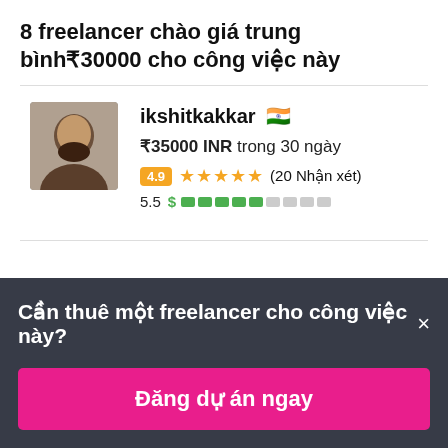8 freelancer chào giá trung bình₹30000 cho công việc này
ikshitkakkar 🇮🇳
₹35000 INR trong 30 ngày
4.9 ★★★★★ (20 Nhận xét)
5.5 $ [progress bar]
Cần thuê một freelancer cho công việc này? ×
Đăng dự án ngay